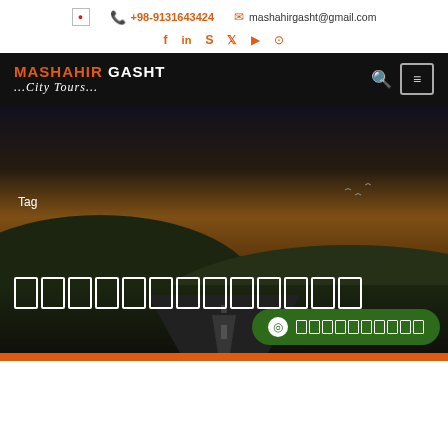+98-9131643424  mashahirgasht@gmail.com
MASHAHIR GASHT ...City Tours...
[Figure (screenshot): Hero image of a winding road at sunset with hills and dramatic sky]
Tag
Persian text boxes (Farsi tag title)
WhatsApp button with Farsi text